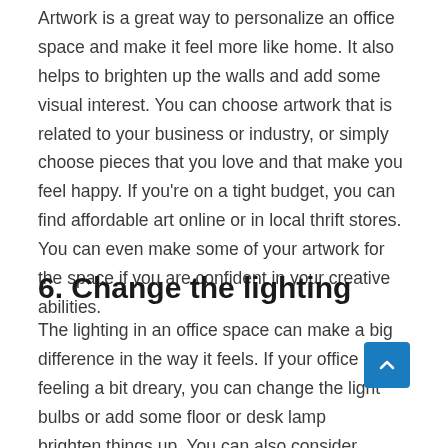Artwork is a great way to personalize an office space and make it feel more like home. It also helps to brighten up the walls and add some visual interest. You can choose artwork that is related to your business or industry, or simply choose pieces that you love and that make you feel happy. If you're on a tight budget, you can find affordable art online or in local thrift stores. You can even make some of your artwork for the space if you are confident in your creative abilities.
6. Change the lighting
The lighting in an office space can make a big difference in the way it feels. If your office is feeling a bit dreary, you can change the light bulbs or add some floor or desk lamps to brighten things up. You can also consider adding some